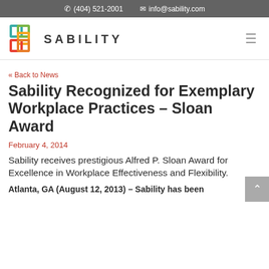(404) 521-2001   info@sability.com
[Figure (logo): Sability logo: overlapping colored squares (teal, green, yellow, red, orange) and the text SABILITY in bold dark letters]
« Back to News
Sability Recognized for Exemplary Workplace Practices – Sloan Award
February 4, 2014
Sability receives prestigious Alfred P. Sloan Award for Excellence in Workplace Effectiveness and Flexibility.
Atlanta, GA (August 12, 2013) – Sability has been